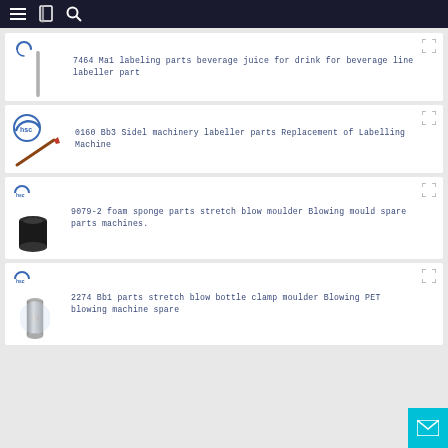Navigation bar with menu, bookmark, and search icons
7464 Ma1 labeling parts beverage juice for drink for beverage line labeller part
0160 Bb3 Sidel machinery labeller parts Replacement of Labelling Machine
9079-2 foam sponge parts stretch blow moulder Blowing mould spare parts machines.
2274 Bb1 parts stretch blow bottle clamp moulder Blowing PET blowing machine spare